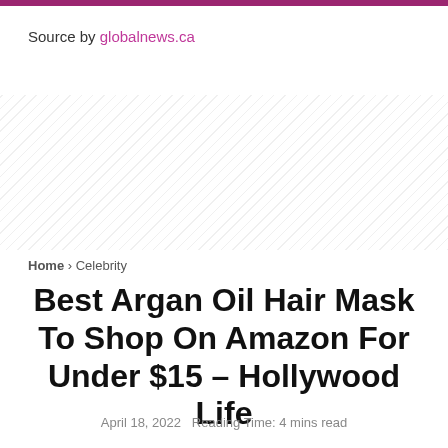Source by globalnews.ca
Best Argan Oil Hair Mask To Shop On Amazon For Under $15 – Hollywood Life
Home › Celebrity
April 18, 2022  Reading Time: 4 mins read